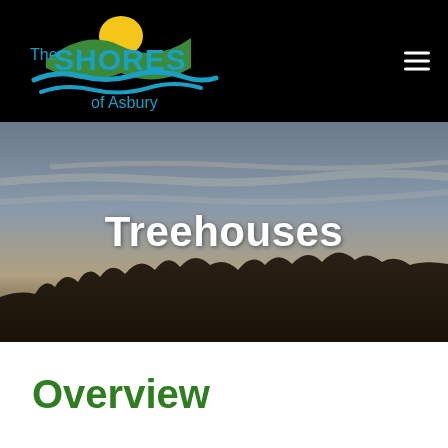The Shores of Asbury
[Figure (photo): Scenic outdoor twilight sky with silhouette of treeline at bottom, used as hero banner background for Treehouses page]
Treehouses
Overview